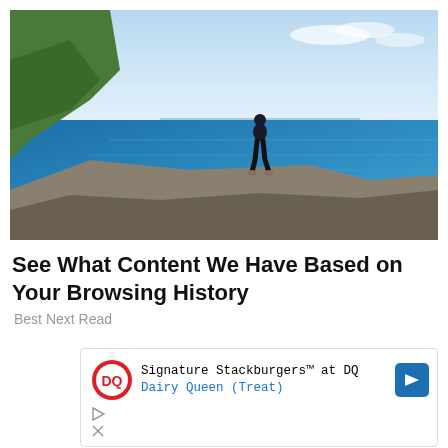[Figure (photo): Person standing on rocky coastal cliff edge overlooking blue ocean with sky in background]
See What Content We Have Based on Your Browsing History
Best Next Read
[Figure (infographic): Advertisement box: Dairy Queen logo with text 'Signature Stackburgers™ at DQ' and 'Dairy Queen (Treat)' link, blue navigation arrow icon on right, play and close icons below]